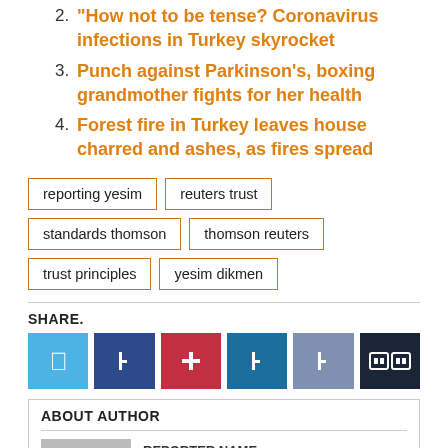2. “How not to be tense? Coronavirus infections in Turkey skyrocket
3. Punch against Parkinson’s, boxing grandmother fights for her health
4. Forest fire in Turkey leaves house charred and ashes, as fires spread
reporting yesim | reuters trust | standards thomson | thomson reuters | trust principles | yesim dikmen
SHARE.
[Figure (infographic): Six social share buttons: Twitter (light blue), Facebook (dark blue), Pinterest (red), LinkedIn (medium blue), Email (slate blue), More (dark navy) with icon symbols]
ABOUT AUTHOR
[Figure (photo): Author thumbnail image placeholder (gray box) with author name underlined]